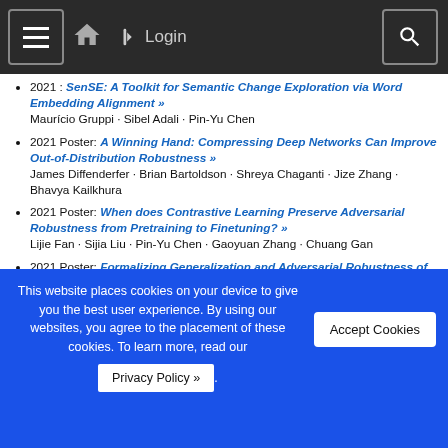☰ 🏠 ➔ Login 🔍
2021 : SenSE: A Toolkit for Semantic Change Exploration via Word Embedding Alignment »
Maurício Gruppi · Sibel Adali · Pin-Yu Chen
2021 Poster: A Winning Hand: Compressing Deep Networks Can Improve Out-of-Distribution Robustness »
James Diffenderfer · Brian Bartoldson · Shreya Chaganti · Jize Zhang · Bhavya Kailkhura
2021 Poster: When does Contrastive Learning Preserve Adversarial Robustness from Pretraining to Finetuning? »
Lijie Fan · Sijia Liu · Pin-Yu Chen · Gaoyuan Zhang · Chuang Gan
2021 Poster: Formalizing Generalization and Adversarial Robustness of Neural Networks to Weight Perturbations
This website places cookies on your device to give you the best user experience. By using our websites, you agree to the placement of these cookies. To learn more, read our Privacy Policy ».